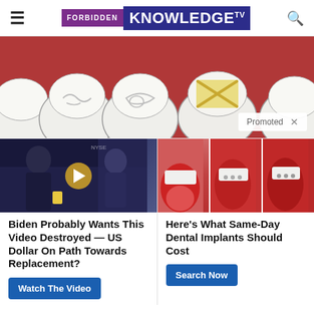Forbidden Knowledge TV
[Figure (illustration): Hero image showing close-up dental/tooth illustration with a promoted badge overlay. Background is dark red/maroon with large stylized teeth featuring decorative patterns and one tooth with a bandage cross symbol.]
[Figure (photo): Video thumbnail for a news/financial video featuring a man in a suit in a TV studio setting with a play button overlay.]
Biden Probably Wants This Video Destroyed — US Dollar On Path Towards Replacement?
Watch The Video
[Figure (photo): Three-panel dental implant photo showing close-up views of dental implants in the mouth from different angles.]
Here's What Same-Day Dental Implants Should Cost
Search Now